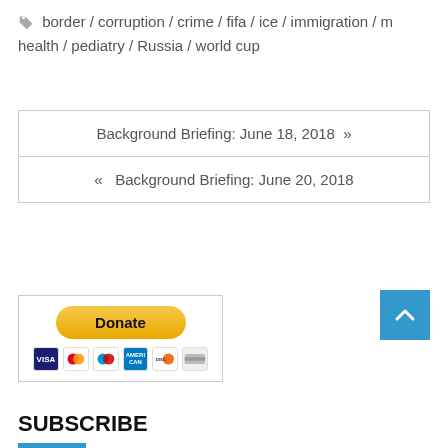border / corruption / crime / fifa / ice / immigration / m health / pediatry / Russia / world cup
Background Briefing: June 18, 2018 »
« Background Briefing: June 20, 2018
[Figure (other): PayPal Donate button with credit card icons (Visa, Mastercard, American Express, Discover, generic card)]
[Figure (other): Scroll-to-top button, blue square with upward chevron arrow]
SUBSCRIBE